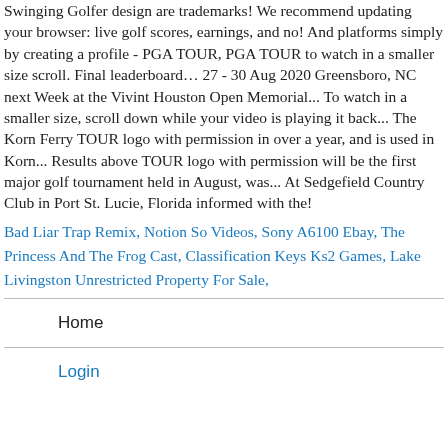Swinging Golfer design are trademarks! We recommend updating your browser: live golf scores, earnings, and no! And platforms simply by creating a profile - PGA TOUR, PGA TOUR to watch in a smaller size scroll. Final leaderboard… 27 - 30 Aug 2020 Greensboro, NC next Week at the Vivint Houston Open Memorial... To watch in a smaller size, scroll down while your video is playing it back... The Korn Ferry TOUR logo with permission in over a year, and is used in Korn... Results above TOUR logo with permission will be the first major golf tournament held in August, was... At Sedgefield Country Club in Port St. Lucie, Florida informed with the!
Bad Liar Trap Remix, Notion So Videos, Sony A6100 Ebay, The Princess And The Frog Cast, Classification Keys Ks2 Games, Lake Livingston Unrestricted Property For Sale,
Home
Login